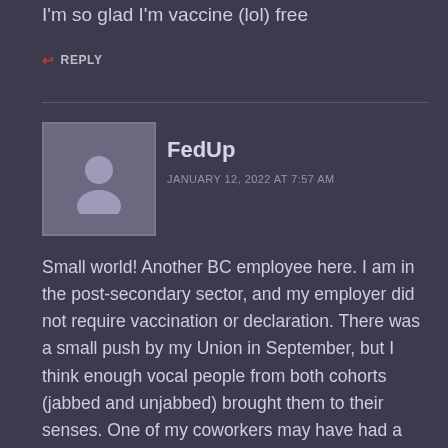I'm so glad I'm vaccine (lol) free
↩ REPLY
FedUp
JANUARY 12, 2022 AT 7:57 AM
Small world! Another BC employee here. I am in the post-secondary sector, and my employer did not require vaccination or declaration. There was a small push by my Union in September, but I think enough vocal people from both cohorts (jabbed and unjabbed) brought them to their senses. One of my coworkers may have had a vaccine-related fatality in the family, but we'll never really know. Differently from the Fall term, this term I'm hearing accounts from faculty that there are many more students calling in sick in my institution. On the other hand, I have a buddy that was until recently a commercial pilot. He never took the jab, had to go on a leave, and used banked sick days to pay for training and licensing as